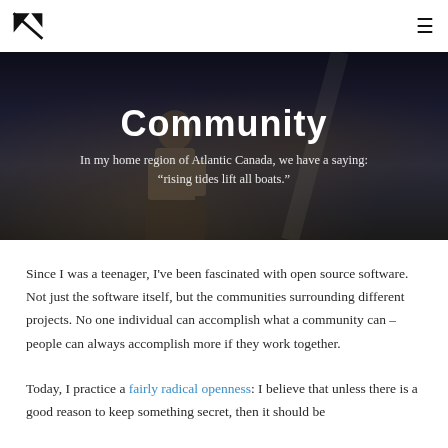[Logo] [hamburger menu]
[Figure (photo): Dark background with a person standing at a podium/lectern speaking, dimly lit conference or talk setting]
Community
In my home region of Atlantic Canada, we have a saying: “rising tides lift all boats.”
Since I was a teenager, I've been fascinated with open source software. Not just the software itself, but the communities surrounding different projects. No one individual can accomplish what a community can – people can always accomplish more if they work together.
Today, I practice a fairly radical openness: I believe that unless there is a good reason to keep something secret, then it should be